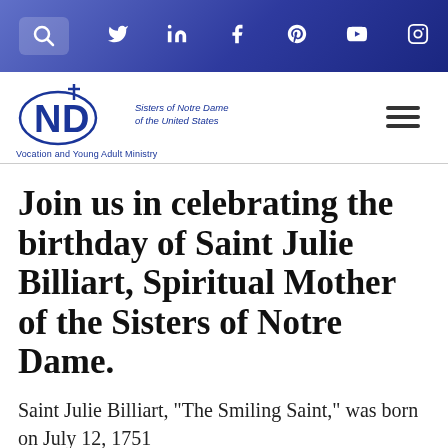Navigation bar with search, Twitter, LinkedIn, Facebook, Pinterest, YouTube, Instagram icons
[Figure (logo): Sisters of Notre Dame of the United States logo with ND monogram and Vocation and Young Adult Ministry tagline]
Join us in celebrating the birthday of Saint Julie Billiart, Spiritual Mother of the Sisters of Notre Dame.
Saint Julie Billiart, “The Smiling Saint,” was born on July 12, 1751